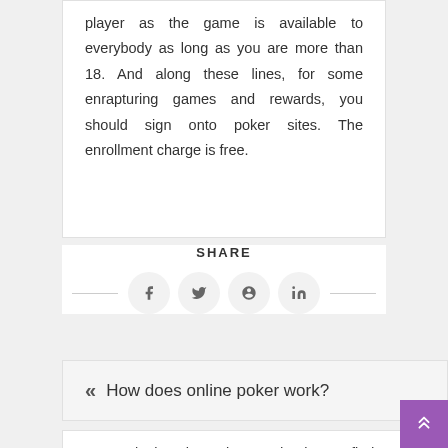player as the game is available to everybody as long as you are more than 18. And along these lines, for some enrapturing games and rewards, you should sign onto poker sites. The enrollment charge is free.
SHARE
[Figure (infographic): Social share icons row: Facebook, Twitter, Pinterest, LinkedIn, with horizontal lines on either side]
« How does online poker work?
Have a look at the reviews and ratings to find